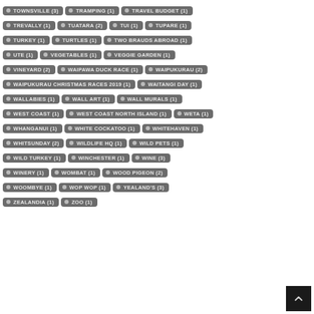TOWNSVILLE (3)
TRAMPING (1)
TRAVEL BUDGET (1)
TREVALLY (1)
TUATARA (2)
TUI (1)
TUPARE (1)
TURKEY (1)
TURTLES (1)
TWO BRAUDS ABROAD (1)
UTE (1)
VEGETABLES (1)
VEGGIE GARDEN (1)
VINEYARD (2)
WAIPAWA DUCK RACE (1)
WAIPUKURAU (2)
WAIPUKURAU CHRISTMAS RACES 2019 (1)
WAITANGI DAY (1)
WALLABIES (1)
WALL ART (1)
WALL MURALS (1)
WEST COAST (1)
WEST COAST NORTH ISLAND (1)
WETA (1)
WHANGANUI (1)
WHITE COCKATOO (1)
WHITEHAVEN (1)
WHITSUNDAY (2)
WILDLIFE HQ (1)
WILD PETS (1)
WILD TURKEY (1)
WINCHESTER (1)
WINE (3)
WINERY (1)
WOMBAT (1)
WOOD PIGEON (2)
WOOMBYE (1)
WOP WOP (1)
YEALAND'S (3)
ZEALANDIA (1)
ZOO (1)